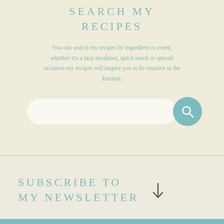SEARCH MY RECIPES
You can search my recipes by ingredient or event, whether it's a lazy breakfast, quick lunch or special occasion my recipes will inspire you to be creative in the kitchen.
[Figure (other): Search bar with white rounded input field and teal circular search button with magnifying glass icon]
SUBSCRIBE TO MY NEWSLETTER